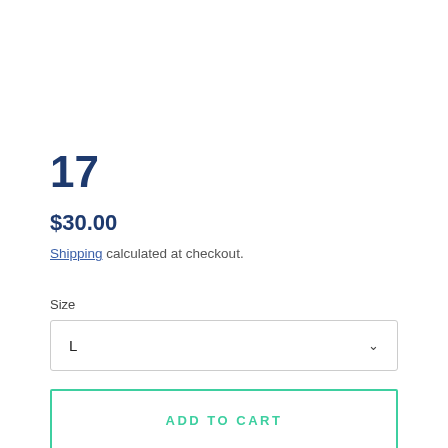17
$30.00
Shipping calculated at checkout.
Size
L
ADD TO CART